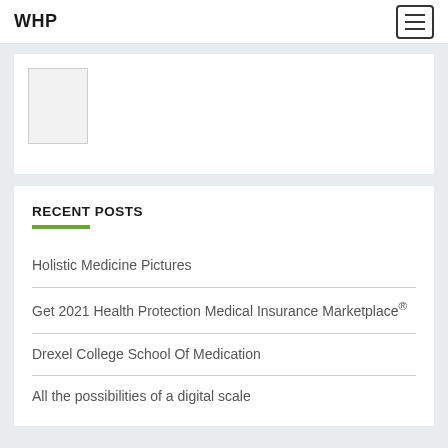WHP
[Figure (other): White card with a small image placeholder thumbnail in the top-left corner]
RECENT POSTS
Holistic Medicine Pictures
Get 2021 Health Protection Medical Insurance Marketplace®
Drexel College School Of Medication
All the possibilities of a digital scale